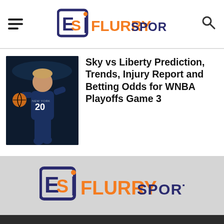FlurrySports
Sky vs Liberty Prediction, Trends, Injury Report and Betting Odds for WNBA Playoffs Game 3
[Figure (photo): Basketball player wearing jersey number 20 dribbling a basketball]
[Figure (logo): Flurry Sports logo — large centered version on gray background]
This website uses cookies to improve your experience. Learn More